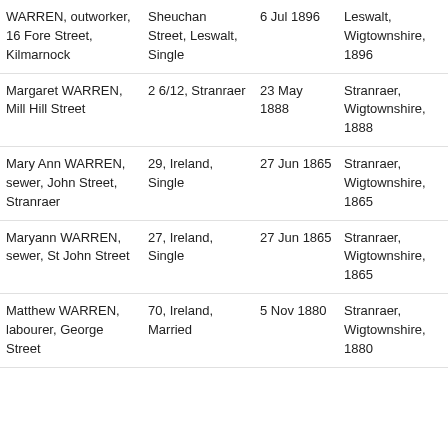| Name/Address | Address2 | Date | Place | Action |
| --- | --- | --- | --- | --- |
| WARREN, outworker, 16 Fore Street, Kilmarnock | Sheuchan Street, Leswalt, Single | 6 Jul 1896 | Leswalt, Wigtownshire, 1896 | Orde now |
| Margaret WARREN, Mill Hill Street | 2 6/12, Stranraer | 23 May 1888 | Stranraer, Wigtownshire, 1888 | Orde now |
| Mary Ann WARREN, sewer, John Street, Stranraer | 29, Ireland, Single | 27 Jun 1865 | Stranraer, Wigtownshire, 1865 | Orde now |
| Maryann WARREN, sewer, St John Street | 27, Ireland, Single | 27 Jun 1865 | Stranraer, Wigtownshire, 1865 | Orde now |
| Matthew WARREN, labourer, George Street | 70, Ireland, Married | 5 Nov 1880 | Stranraer, Wigtownshire, 1880 | Orde now |